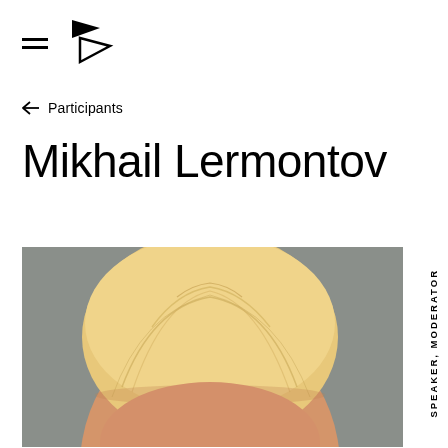≡ [logo]
← Participants
Mikhail Lermontov
[Figure (photo): Partial headshot of Mikhail Lermontov — top of head with blonde/white hair visible against a grey background]
SPEAKER, MODERATOR